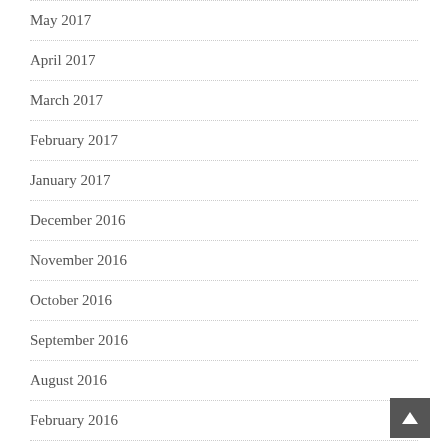May 2017
April 2017
March 2017
February 2017
January 2017
December 2016
November 2016
October 2016
September 2016
August 2016
February 2016
January 2016